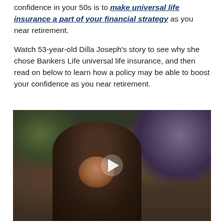confidence in your 50s is to make universal life insurance a part of your financial strategy as you near retirement.
Watch 53-year-old Dilla Joseph's story to see why she chose Bankers Life universal life insurance, and then read on below to learn how a policy may be able to boost your confidence as you near retirement.
[Figure (photo): Video thumbnail showing a woman arranging flowers, with a play button overlay in the center. The scene is dark-toned with purple and white floral arrangements visible in the background.]